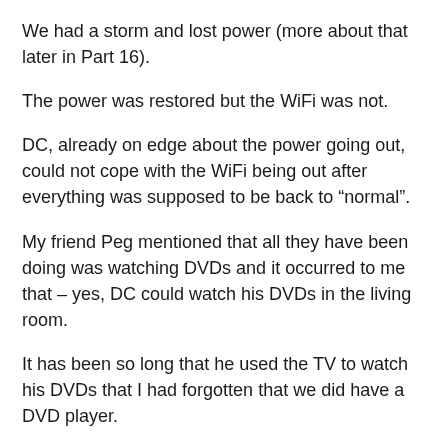We had a storm and lost power (more about that later in Part 16).
The power was restored but the WiFi was not.
DC, already on edge about the power going out, could not cope with the WiFi being out after everything was supposed to be back to “normal”.
My friend Peg mentioned that all they have been doing was watching DVDs and it occurred to me that – yes, DC could watch his DVDs in the living room.
It has been so long that he used the TV to watch his DVDs that I had forgotten that we did have a DVD player.
DC was not very excited about the prospect of watching his movies in the living room.